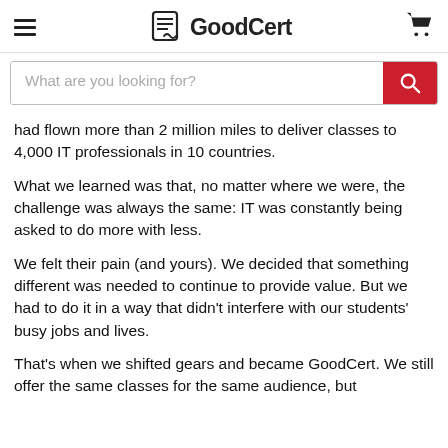GoodCert
had flown more than 2 million miles to deliver classes to 4,000 IT professionals in 10 countries.
What we learned was that, no matter where we were, the challenge was always the same: IT was constantly being asked to do more with less.
We felt their pain (and yours). We decided that something different was needed to continue to provide value. But we had to do it in a way that didn't interfere with our students' busy jobs and lives.
That's when we shifted gears and became GoodCert. We still offer the same classes for the same audience, but